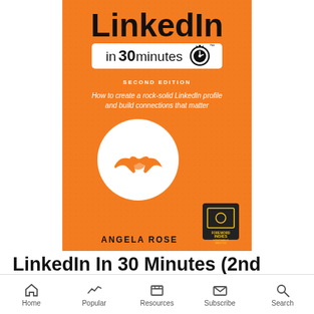[Figure (illustration): Book cover for 'LinkedIn In 30 Minutes, Second Edition' by Angela Rose. Orange background with a white rounded rectangle badge showing 'in 30 minutes' text with stopwatch icon, subtitle text, a handshake icon in a white circle, and a Foreword Indies award badge. Author name 'ANGELA ROSE' at bottom.]
LinkedIn In 30 Minutes (2nd
Home  Popular  Resources  Subscribe  Search